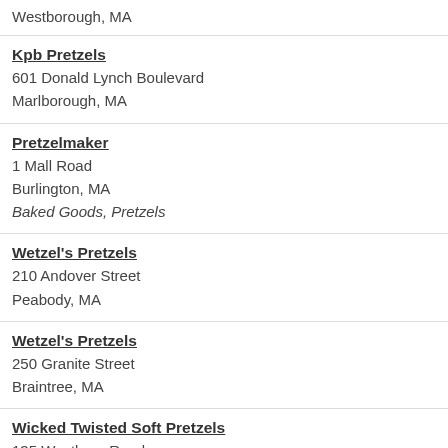Westborough, MA
Kpb Pretzels
601 Donald Lynch Boulevard
Marlborough, MA
Pretzelmaker
1 Mall Road
Burlington, MA
Baked Goods, Pretzels
Wetzel's Pretzels
210 Andover Street
Peabody, MA
Wetzel's Pretzels
250 Granite Street
Braintree, MA
Wicked Twisted Soft Pretzels
135 Westboro Road